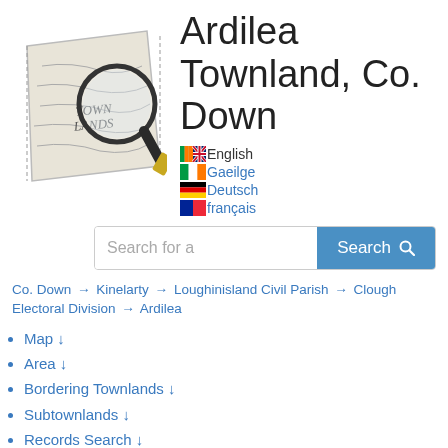[Figure (logo): Townlands map magnifying glass logo showing a crumpled map with TOWN LANDS text and a magnifying glass]
Ardilea Townland, Co. Down
English (flag), Gaeilge (link), Deutsch (link), français (link)
Search for a [Search button]
Co. Down → Kinelarty → Loughinisland Civil Parish → Clough Electoral Division → Ardilea
Map ↓
Area ↓
Bordering Townlands ↓
Subtownlands ↓
Records Search ↓